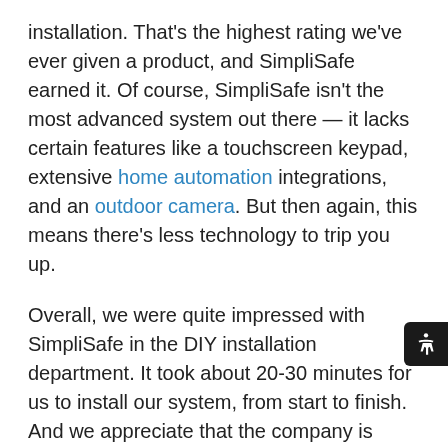installation. That's the highest rating we've ever given a product, and SimpliSafe earned it. Of course, SimpliSafe isn't the most advanced system out there — it lacks certain features like a touchscreen keypad, extensive home automation integrations, and an outdoor camera. But then again, this means there's less technology to trip you up.
Overall, we were quite impressed with SimpliSafe in the DIY installation department. It took about 20-30 minutes for us to install our system, from start to finish. And we appreciate that the company is (almost) always around for phone support in case you hit a roadblock. The bottom line is that SimpliSafe is a great value if you're looking for an affordable, user-friendly